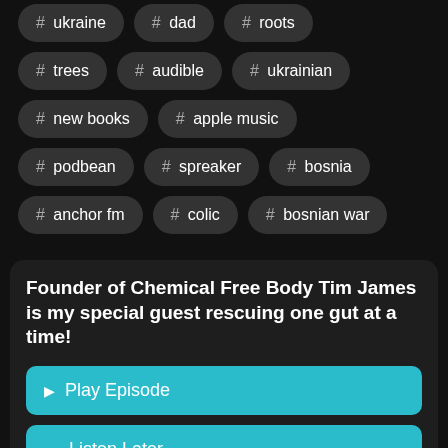# ukraine  # dad  # roots
# trees  # audible  # ukrainian
# new books  # apple music
# podbean  # spreaker  # bosnia
# anchor fm  # colic  # bosnian war
Founder of Chemical Free Body Tim James is my special guest rescuing one gut at a time!
Play Episode
Listen Later
(partial bottom tags)